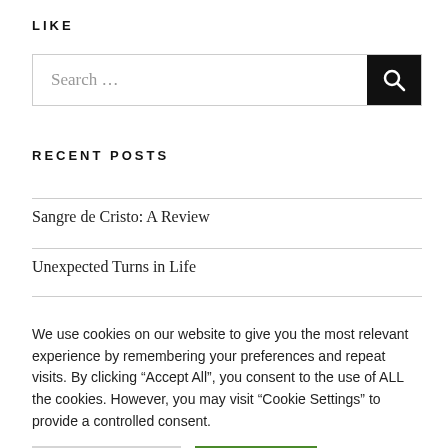LIKE
[Figure (other): Search bar with text input showing 'Search ...' and a black search button with magnifying glass icon]
RECENT POSTS
Sangre de Cristo: A Review
Unexpected Turns in Life
We use cookies on our website to give you the most relevant experience by remembering your preferences and repeat visits. By clicking “Accept All”, you consent to the use of ALL the cookies. However, you may visit “Cookie Settings” to provide a controlled consent.
Cookie Settings | Accept All